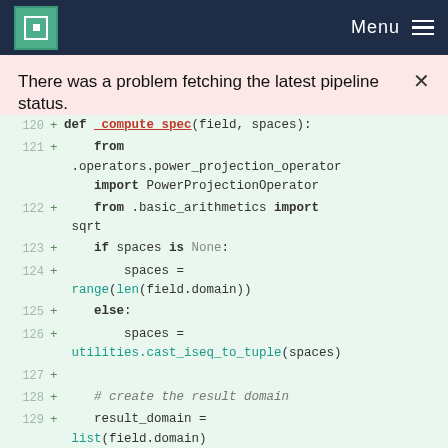MPCDF Menu
There was a problem fetching the latest pipeline status.
[Figure (screenshot): Code diff view showing Python lines 120-131 with green background, line numbers, plus signs, and syntax-highlighted code]
120 + def _compute_spec(field, spaces):
121 +     from .operators.power_projection_operator import PowerProjectionOperator
122 +     from .basic_arithmetics import sqrt
123 +     if spaces is None:
124 +         spaces = range(len(field.domain))
125 +     else:
126 +         spaces = utilities.cast_iseq_to_tuple(spaces)
127 +
128 +     # create the result domain
129 +     result_domain = list(field.domain)
130 +
131 +     spec = sqrt(field)